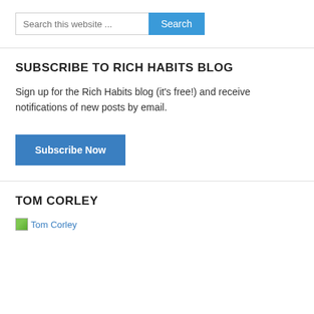[Figure (other): Search bar with text input placeholder 'Search this website ...' and a blue 'Search' button]
SUBSCRIBE TO RICH HABITS BLOG
Sign up for the Rich Habits blog (it's free!) and receive notifications of new posts by email.
[Figure (other): Blue 'Subscribe Now' button]
TOM CORLEY
[Figure (photo): Tom Corley image placeholder with alt text 'Tom Corley']